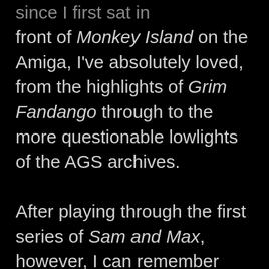since I first sat in front of Monkey Island on the Amiga, I've absolutely loved, from the highlights of Grim Fandango through to the more questionable lowlights of the AGS archives.

After playing through the first series of Sam and Max, however, I can remember feeling a distinct disappointment – taken by the belief that they were simply watering down the tropes of the genre and presenting them in a sickeningly palatable form, a feeling that only grew as they moved onto Monkey Island, Back to the Future, and the woeful Jurassic Park. With studios as great as Wadjet Eye going unnoticed in the shadow of Telltale's increasingly ham-fisted